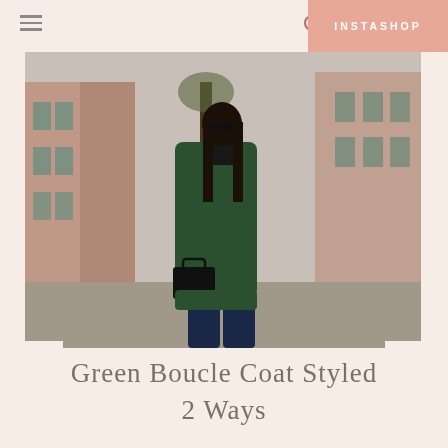≡  🔍  INSTASHOP
[Figure (photo): A woman wearing a dark green boucle coat over a black turtleneck and dark jeans, carrying a black structured handbag, standing on a city street with brick rowhouses in the background.]
Green Boucle Coat Styled 2 Ways